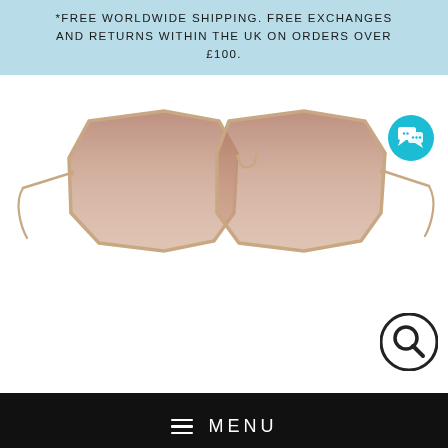*FREE WORLDWIDE SHIPPING. FREE EXCHANGES AND RETURNS WITHIN THE UK ON ORDERS OVER £100.
[Figure (photo): Product photo of geometric hexagonal sunglasses with rose gold metal frame and gradient brown lenses, shown straight-on against white background. A teal chat button icon appears in the upper right, and a magnifying glass zoom icon appears in the lower right.]
☰  MENU
KW1